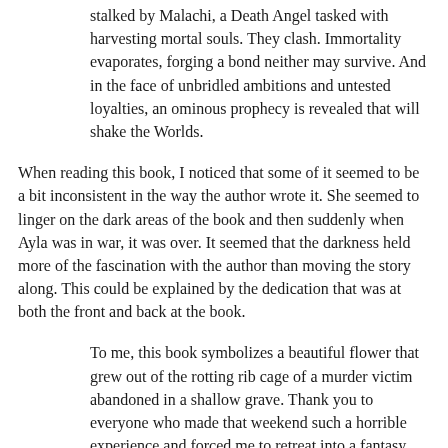stalked by Malachi, a Death Angel tasked with harvesting mortal souls. They clash. Immortality evaporates, forging a bond neither may survive. And in the face of unbridled ambitions and untested loyalties, an ominous prophecy is revealed that will shake the Worlds.
When reading this book, I noticed that some of it seemed to be a bit inconsistent in the way the author wrote it. She seemed to linger on the dark areas of the book and then suddenly when Ayla was in war, it was over. It seemed that the darkness held more of the fascination with the author than moving the story along. This could be explained by the dedication that was at both the front and back at the book.
To me, this book symbolizes a beautiful flower that grew out of the rotting rib cage of a murder victim abandoned in a shallow grave. Thank you to everyone who made that weekend such a horrible experience and forced me to retreat into a fantasy world where a sewer full of monsters offered more hospitable company than yours.